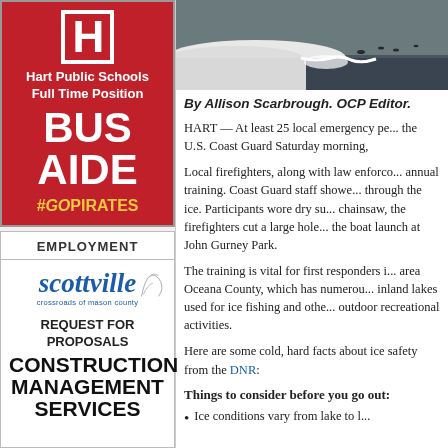[Figure (illustration): Hart Public Schools Bus Aide job advertisement on red background with school logo, text BUS AIDE, and hashtag #GOPIRATES]
EMPLOYMENT
[Figure (logo): Scottville crossroads of mason county logo in blue italic font with a sketch illustration]
REQUEST FOR PROPOSALS CONSTRUCTION MANAGEMENT SERVICES
[Figure (photo): Photo of ice on water, showing ice sheet edge and dark water]
By Allison Scarbrough. OCP Editor.
HART — At least 25 local emergency pe... the U.S. Coast Guard Saturday morning,
Local firefighters, along with law enforcement, annual training. Coast Guard staff showed through the ice. Participants wore dry suits; chainsaw, the firefighters cut a large hole the boat launch at John Gurney Park.
The training is vital for first responders in area Oceana County, which has numerous inland lakes used for ice fishing and other outdoor recreational activities.
Here are some cold, hard facts about ice safety from the DNR:
Things to consider before you go out:
Ice conditions vary from lake to l...